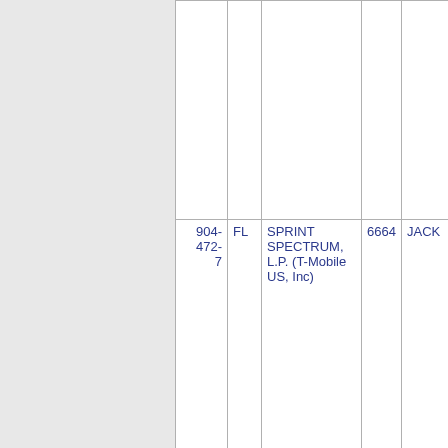| Phone | State | Company | ZIP | City |
| --- | --- | --- | --- | --- |
|  |  |  |  |  |
| 904-472-7 | FL | SPRINT SPECTRUM, L.P. (T-Mobile US, Inc) | 6664 | JACK |
| 904-472-8 | FL | SPRINT SPECTRUM, L.P. (T-Mobile US, Inc) | 6664 | JACK |